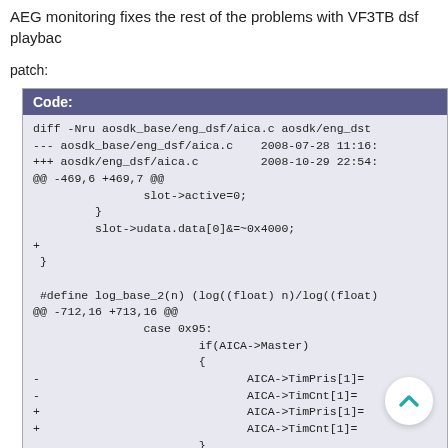AEG monitoring fixes the rest of the problems with VF3TB dsf playback
patch:
[Figure (screenshot): Code block showing a diff patch for aosdk/eng_dsf/aica.c with additions and removals for AICA->TimPris[1] and AICA->TimCnt[1] and other changes including log_base_2 macro and case statements for 0x95, 0x98, 0x99.]